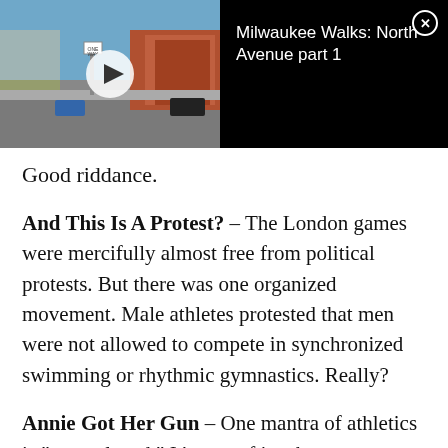[Figure (screenshot): Video thumbnail showing a street scene (North Avenue) with a play button overlay, beside a black panel with the title 'Milwaukee Walks: North Avenue part 1' and a close (X) button.]
Good riddance.
And This Is A Protest? – The London games were mercifully almost free from political protests. But there was one organized movement. Male athletes protested that men were not allowed to compete in synchronized swimming or rhythmic gymnastics. Really?
Annie Got Her Gun – One mantra of athletics is "stay relaxed." It's true of just bout every sport. Nobody seemed calmer than Kim Rhode, who won